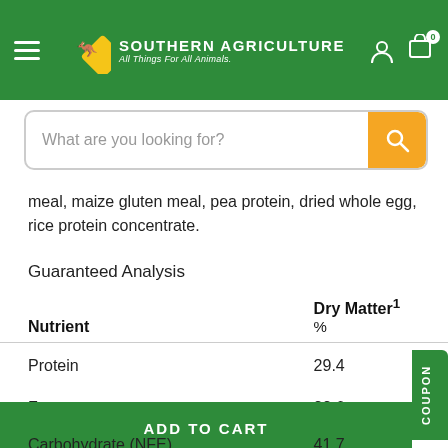Southern Agriculture — All Things For All Animals
meal, maize gluten meal, pea protein, dried whole egg, rice protein concentrate.
Guaranteed Analysis
| Nutrient | Dry Matter1 % |
| --- | --- |
| Protein | 29.4 |
| Fat | 22.6 |
| Carbohydrate (NFE) | 41.7 |